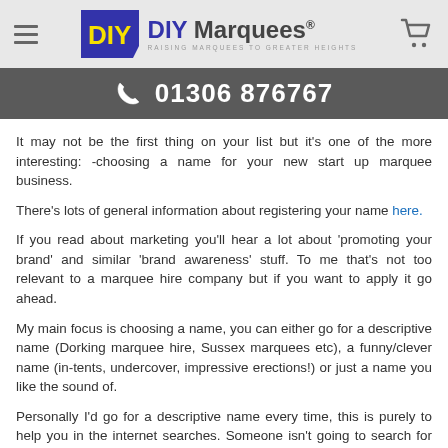DIY Marquees — RAISING MARQUEES TO GREATER HEIGHTS
01306 876767
It may not be the first thing on your list but it’s one of the more interesting: -choosing a name for your new start up marquee business.
There’s lots of general information about registering your name here.
If you read about marketing you’ll hear a lot about ‘promoting your brand’ and similar ‘brand awareness’ stuff. To me that’s not too relevant to a marquee hire company but if you want to apply it go ahead.
My main focus is choosing a name, you can either go for a descriptive name (Dorking marquee hire, Sussex marquees etc), a funny/clever name (in-tents, undercover, impressive erections!) or just a name you like the sound of.
Personally I’d go for a descriptive name every time, this is purely to help you in the internet searches. Someone isn’t going to search for ‘Spencers tents’ or ‘Spencers got you